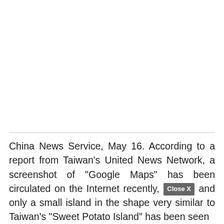[Figure (other): White blank space / advertisement area above the article text]
China News Service, May 16. According to a report from Taiwan's United News Network, a screenshot of "Google Maps" has been circulated on the Internet recently, [Close X] and only a small island in the shape very similar to Taiwan's "Sweet Potato Island" has been seen...